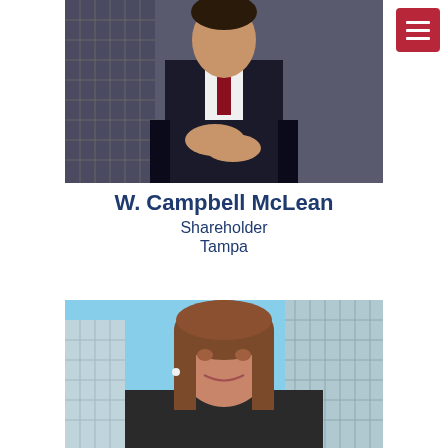[Figure (photo): Professional headshot of W. Campbell McLean, a man in a dark suit with arms crossed, seated, with a city building in the background]
W. Campbell McLean
Shareholder
Tampa
[Figure (photo): Professional headshot of a woman with long brown hair, smiling, with city skyscrapers and blue sky in the background]